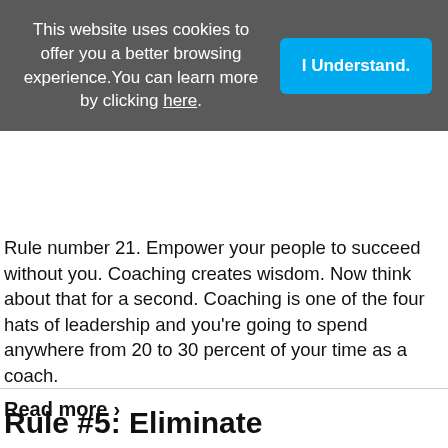This website uses cookies to offer you a better browsing experience. You can learn more by clicking here.
I Understand.
Rule number 21. Empower your people to succeed without you. Coaching creates wisdom. Now think about that for a second. Coaching is one of the four hats of leadership and you're going to spend anywhere from 20 to 30 percent of your time as a coach.
Read more ›
Rule #5: Eliminate